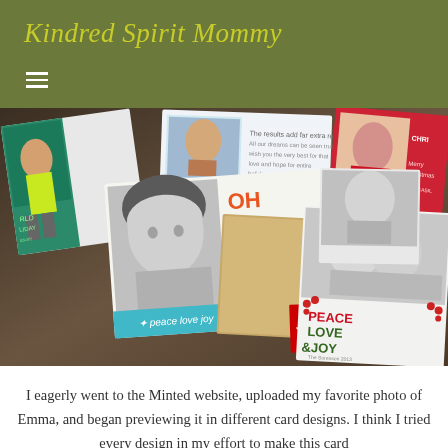Kindred Spirit Mommy
[Figure (photo): Collage of holiday/Christmas greeting cards spread out on a surface, showing various card designs including 'OH JOY', 'PEACE LOVE & JOY', 'peace love joy', and photo cards with children]
I eagerly went to the Minted website, uploaded my favorite photo of Emma, and began previewing it in different card designs. I think I tried every design in my effort to make this card